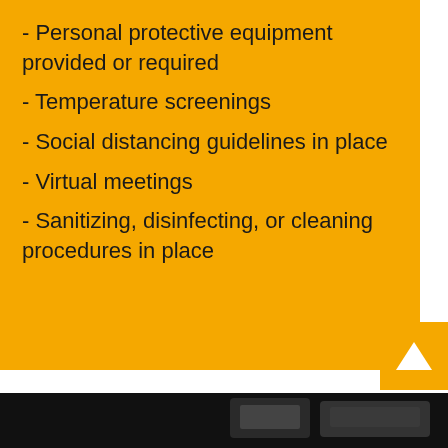- Personal protective equipment provided or required
- Temperature screenings
- Social distancing guidelines in place
- Virtual meetings
- Sanitizing, disinfecting, or cleaning procedures in place
[Figure (other): Dark background strip at the bottom of the page, partially visible image of equipment/devices]